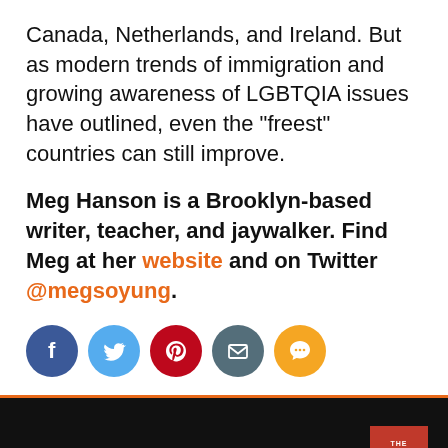Canada, Netherlands, and Ireland. But as modern trends of immigration and growing awareness of LGBTQIA issues have outlined, even the "freest" countries can still improve.
Meg Hanson is a Brooklyn-based writer, teacher, and jaywalker. Find Meg at her website and on Twitter @megsoyung.
[Figure (infographic): Row of five social media share icon circles: Facebook (blue), Twitter (light blue), Pinterest (red), Email (dark grey), SMS (orange)]
[Figure (logo): The Liberty Chronicle logo in red square on black background, bottom right corner]